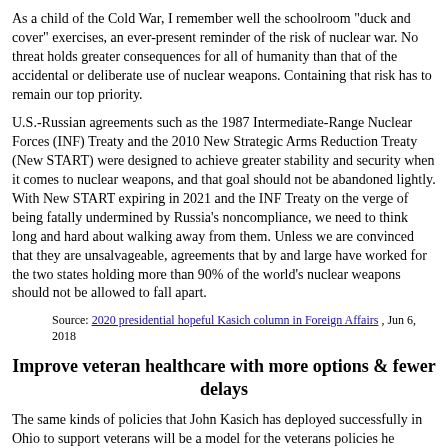As a child of the Cold War, I remember well the schoolroom "duck and cover" exercises, an ever-present reminder of the risk of nuclear war. No threat holds greater consequences for all of humanity than that of the accidental or deliberate use of nuclear weapons. Containing that risk has to remain our top priority.
U.S.-Russian agreements such as the 1987 Intermediate-Range Nuclear Forces (INF) Treaty and the 2010 New Strategic Arms Reduction Treaty (New START) were designed to achieve greater stability and security when it comes to nuclear weapons, and that goal should not be abandoned lightly. With New START expiring in 2021 and the INF Treaty on the verge of being fatally undermined by Russia's noncompliance, we need to think long and hard about walking away from them. Unless we are convinced that they are unsalvageable, agreements that by and large have worked for the two states holding more than 90% of the world's nuclear weapons should not be allowed to fall apart.
Source: 2020 presidential hopeful Kasich column in Foreign Affairs , Jun 6, 2018
Improve veteran healthcare with more options & fewer delays
The same kinds of policies that John Kasich has deployed successfully in Ohio to support veterans will be a model for the veterans policies he pursues as president. A particular focus will be health care, where he supports improving the current system as well as giving veterans new flexibilities and options to eliminate delays for needed care.